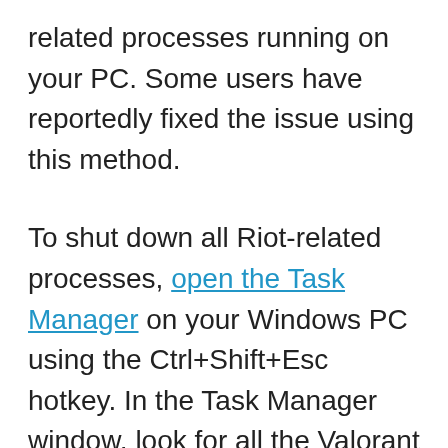related processes running on your PC. Some users have reportedly fixed the issue using this method.
To shut down all Riot-related processes, open the Task Manager on your Windows PC using the Ctrl+Shift+Esc hotkey. In the Task Manager window, look for all the Valorant or Riot-related processes and tasks under the Processes tab. Then, select the Valorant related processes and then press the End Task button to terminate all the processes.
Now, relaunch the Valorant game and see if it